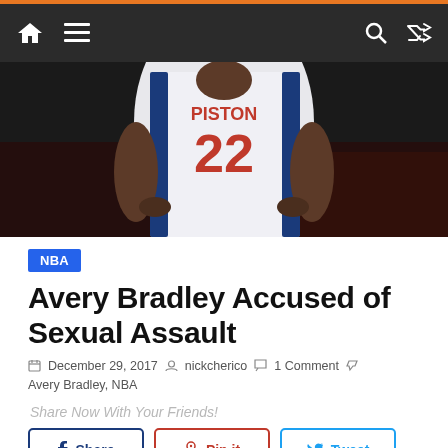Navigation bar with home, menu, search, and shuffle icons
[Figure (photo): Basketball player wearing Detroit Pistons jersey number 22, white uniform with red and blue lettering, cropped to show torso with hands on hips, blurred crowd in background]
NBA
Avery Bradley Accused of Sexual Assault
December 29, 2017   nickcherico   1 Comment   Avery Bradley, NBA
Share Now With Your Friends!
Share   Pin it   Tweet   Send